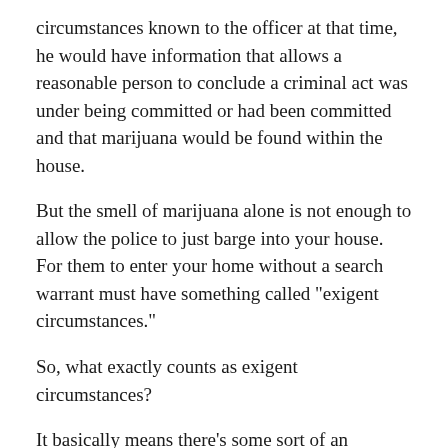circumstances known to the officer at that time, he would have information that allows a reasonable person to conclude a criminal act was under being committed or had been committed and that marijuana would be found within the house.
But the smell of marijuana alone is not enough to allow the police to just barge into your house. For them to enter your home without a search warrant must have something called "exigent circumstances."
So, what exactly counts as exigent circumstances?
It basically means there's some sort of an emergency situation requiring swift action by the police to prevent imminent danger to life or serious damage to property or to forestall the imminent escape of a suspect, or destruction of evidence.
So, if you just answer the door to the police and they